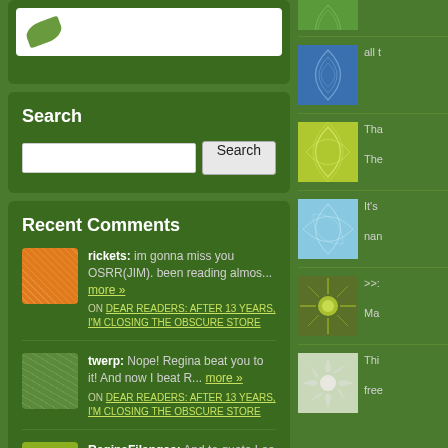[Figure (screenshot): Top partial widget area with white box and leaf icon]
Search
[Figure (screenshot): Search input box and Search button]
Recent Comments
rickets: im gonna miss you OSRR(JIM). been reading almos... more » ON DEAR READERS: AFTER 13 YEARS, I'M CLOSING THE OBSCURE STORE
twerp: Nope! Regina beat you to it! And now I beat R... more » ON DEAR READERS: AFTER 13 YEARS, I'M CLOSING THE OBSCURE STORE
ReginaFilangee: And to quote Lee
[Figure (illustration): Green leaf pattern thumbnail (top right sidebar)]
[Figure (illustration): Blue leaf pattern thumbnail with text 'all t']
[Figure (illustration): Lime/yellow-green leaf pattern thumbnail with text 'Tha' and 'The']
[Figure (illustration): Light blue web/leaf pattern thumbnail with text 'It's' and 'nan']
[Figure (illustration): Dark green sun/starburst thumbnail with text '>>:' and 'Ma']
[Figure (illustration): Light grey/green flower thumbnail with text 'Thi' and 'free']